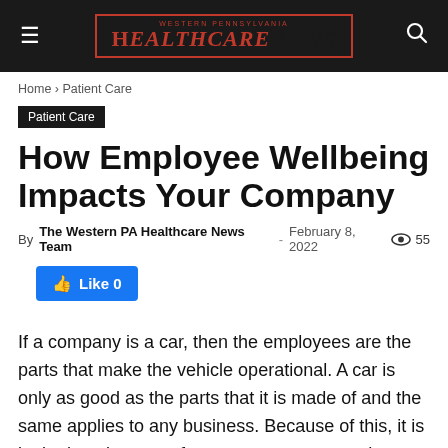Western Pennsylvania Healthcare News
Home › Patient Care
Patient Care
How Employee Wellbeing Impacts Your Company
By The Western PA Healthcare News Team - February 8, 2022 55
Like 0
If a company is a car, then the employees are the parts that make the vehicle operational. A car is only as good as the parts that it is made of and the same applies to any business. Because of this, it is in the best interest of a company to ensure that their employees are always at...